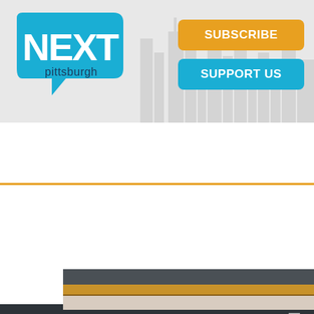[Figure (screenshot): NEXTpittsburgh website header with logo, Subscribe and Support Us buttons, city skyline silhouette background]
What's NEXT for pittsburgh?
Menu
[Figure (infographic): Event banner: 58th Carnegie International Opening Celebration Party, in partnership with NEXTpittsburgh, September 23, Carnegie Museum of Art, Buy Tickets →]
Home > City Design
[Figure (photo): Partial photo of a building structure/roof]
[Figure (infographic): Social sharing bar with Facebook, Twitter, Pinterest, Email, SMS, and share icons]